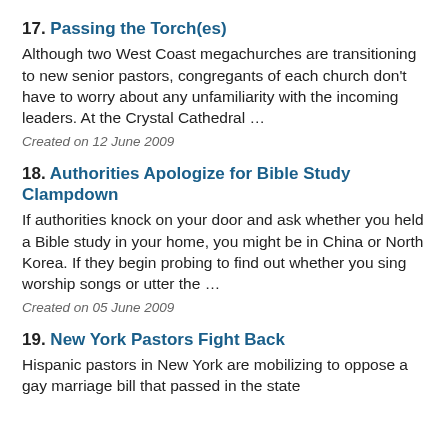17. Passing the Torch(es) Although two West Coast megachurches are transitioning to new senior pastors, congregants of each church don't have to worry about any unfamiliarity with the incoming leaders. At the Crystal Cathedral …
Created on 12 June 2009
18. Authorities Apologize for Bible Study Clampdown If authorities knock on your door and ask whether you held a Bible study in your home, you might be in China or North Korea. If they begin probing to find out whether you sing worship songs or utter the …
Created on 05 June 2009
19. New York Pastors Fight Back Hispanic pastors in New York are mobilizing to oppose a gay marriage bill that passed in the state